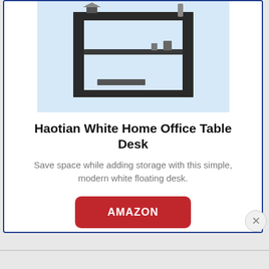[Figure (photo): Product photo of a dark-colored wall-mounted floating desk with shelves and monitor/storage areas, displayed against a light blue background]
Haotian White Home Office Table Desk
Save space while adding storage with this simple, modern white floating desk.
AMAZON
$74.99 ✓prime